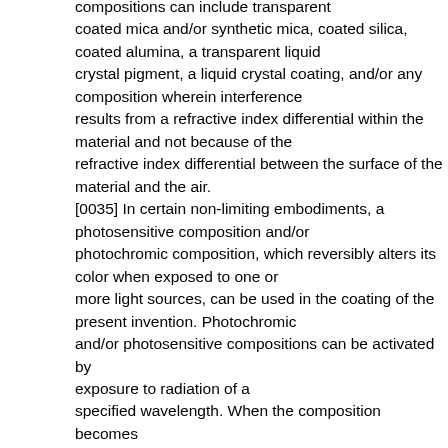compositions can include transparent coated mica and/or synthetic mica, coated silica, coated alumina, a transparent liquid crystal pigment, a liquid crystal coating, and/or any composition wherein interference results from a refractive index differential within the material and not because of the refractive index differential between the surface of the material and the air. [0035] In certain non-limiting embodiments, a photosensitive composition and/or photochromic composition, which reversibly alters its color when exposed to one or more light sources, can be used in the coating of the present invention. Photochromic and/or photosensitive compositions can be activated by exposure to radiation of a specified wavelength. When the composition becomes excited, the molecular structure is changed and the altered structure exhibits a new color that is different from the original color of the composition. When the exposure to radiation is removed, the